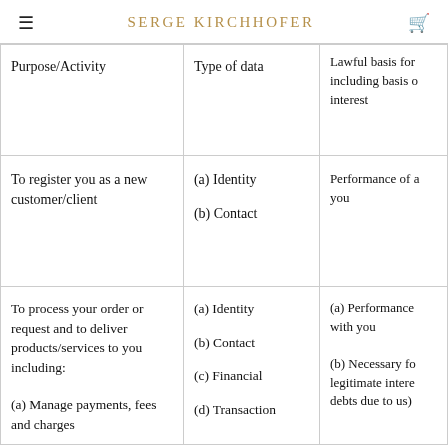SERGE KIRCHHOFER
| Purpose/Activity | Type of data | Lawful basis for processing including basis of legitimate interest |
| --- | --- | --- |
| To register you as a new customer/client | (a) Identity
(b) Contact | Performance of a contract with you |
| To process your order or request and to deliver products/services to you including:
(a) Manage payments, fees and charges | (a) Identity
(b) Contact
(c) Financial
(d) Transaction | (a) Performance of a contract with you
(b) Necessary for our legitimate interests (to recover debts due to us) |